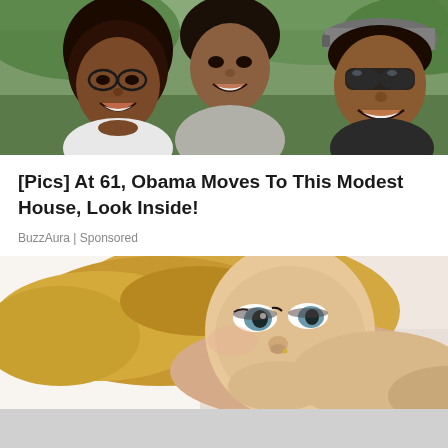[Figure (photo): Three smiling women outdoors, one wearing glasses with curly hair on left, one in center, one wearing sunglasses and a cap on right]
[Pics] At 61, Obama Moves To This Modest House, Look Inside!
BuzzAura | Sponsored
[Figure (photo): Close-up photo of a blonde woman lying down, looking at camera with blue eyes]
[Figure (other): Grey/blank area at bottom of page]